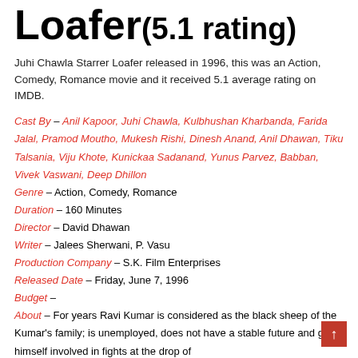Loafer (5.1 rating)
Juhi Chawla Starrer Loafer released in 1996, this was an Action, Comedy, Romance movie and it received 5.1 average rating on IMDB.
Cast By – Anil Kapoor, Juhi Chawla, Kulbhushan Kharbanda, Farida Jalal, Pramod Moutho, Mukesh Rishi, Dinesh Anand, Anil Dhawan, Tiku Talsania, Viju Khote, Kunickaa Sadanand, Yunus Parvez, Babban, Vivek Vaswani, Deep Dhillon Genre – Action, Comedy, Romance Duration – 160 Minutes Director – David Dhawan Writer – Jalees Sherwani, P. Vasu Production Company – S.K. Film Enterprises Released Date – Friday, June 7, 1996 Budget – About – For years Ravi Kumar is considered as the black sheep of the Kumar's family; is unemployed, does not have a stable future and gets himself involved in fights at the drop of